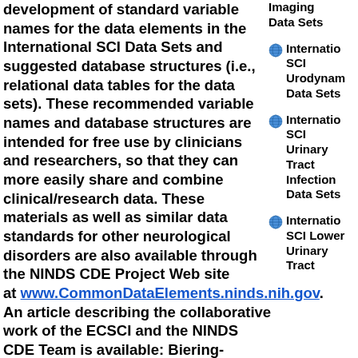development of standard variable names for the data elements in the International SCI Data Sets and suggested database structures (i.e., relational data tables for the data sets). These recommended variable names and database structures are intended for free use by clinicians and researchers, so that they can more easily share and combine clinical/research data. These materials as well as similar data standards for other neurological disorders are also available through the NINDS CDE Project Web site at www.CommonDataElements.ninds.nih.gov. An article describing the collaborative work of the ECSCI and the NINDS CDE Team is available: Biering-Sørensen F, Charlifue S,
Imaging Data Sets
International SCI Urodynamic Data Sets
International SCI Urinary Tract Infection Data Sets
International SCI Lower Urinary Tract